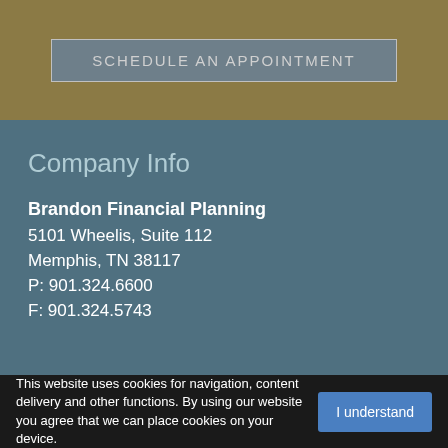SCHEDULE AN APPOINTMENT
Company Info
Brandon Financial Planning
5101 Wheelis, Suite 112
Memphis, TN 38117
P: 901.324.6600
F: 901.324.5743
This website uses cookies for navigation, content delivery and other functions. By using our website you agree that we can place cookies on your device. I understand